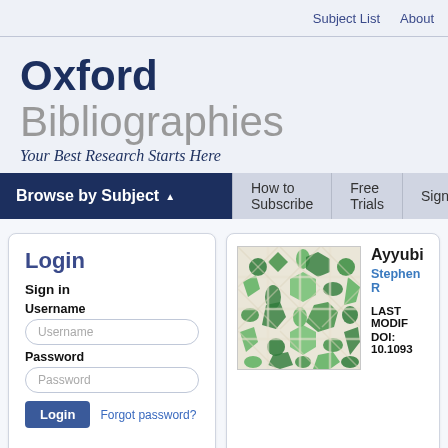Subject List  About
Oxford Bibliographies
Your Best Research Starts Here
Browse by Subject  How to Subscribe  Free Trials  Sign
Login
Sign in
Username
Username
Password
Password
Login  Forgot password?
[Figure (illustration): Islamic geometric tile pattern with green and white interlocking star and floral shapes]
Ayyubi
Stephen R
LAST MODIF
DOI: 10.1093